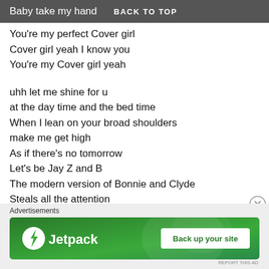Baby take my hand   BACK TO TOP
You're my perfect Cover girl
Cover girl yeah I know you
You're my Cover girl yeah
uhh let me shine for u
at the day time and the bed time
When I lean on your broad shoulders
make me get high
As if there's no tomorrow
Let's be Jay Z and B
The modern version of Bonnie and Clyde
Steals all the attention
Don't worry, I'll never leave you
No matter how busy you are
[Figure (screenshot): Jetpack advertisement banner with logo and 'Back up your site' button on green background]